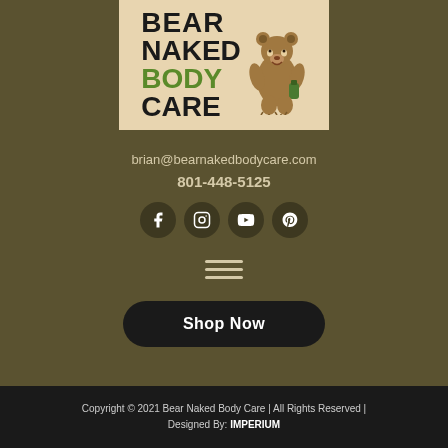[Figure (logo): Bear Naked Body Care logo with illustrated bear holding a bottle, text reads BEAR NAKED BODY CARE with BODY in green]
brian@bearnakedbodycare.com
801-448-5125
[Figure (infographic): Row of four social media icon circles: Facebook, Instagram, YouTube, Pinterest]
[Figure (infographic): Hamburger menu icon with three horizontal lines]
Shop Now
Copyright © 2021 Bear Naked Body Care | All Rights Reserved | Designed By: IMPERIUM